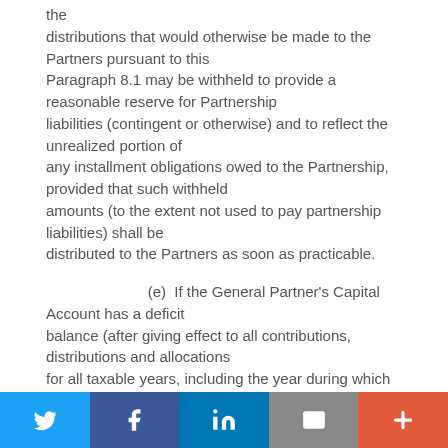the distributions that would otherwise be made to the Partners pursuant to this Paragraph 8.1 may be withheld to provide a reasonable reserve for Partnership liabilities (contingent or otherwise) and to reflect the unrealized portion of any installment obligations owed to the Partnership, provided that such withheld amounts (to the extent not used to pay partnership liabilities) shall be distributed to the Partners as soon as practicable.
(e)  If the General Partner's Capital Account has a deficit balance (after giving effect to all contributions, distributions and allocations for all taxable years, including the year during which such liquidation occurs), then except as otherwise required pursuant to Paragraph 8.2, the General Partner
Social sharing bar: Twitter, Facebook, LinkedIn, Email, Plus